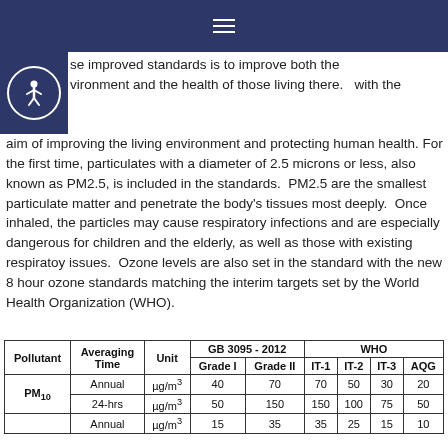≡
se improved standards is to improve both the vironment and the health of those living there.  with the aim of improving the living environment and protecting human health. For the first time, particulates with a diameter of 2.5 microns or less, also known as PM2.5, is included in the standards.  PM2.5 are the smallest particulate matter and penetrate the body's tissues most deeply.  Once inhaled, the particles may cause respiratory infections and are especially dangerous for children and the elderly, as well as those with existing respiratoy issues.  Ozone levels are also set in the standard with the new 8 hour ozone standards matching the interim targets set by the World Health Organization (WHO).
| Pollutant | Averaging Time | Unit | GB 3095 - 2012 Grade I | GB 3095 - 2012 Grade II | WHO IT-1 | WHO IT-2 | WHO IT-3 | WHO AQG |
| --- | --- | --- | --- | --- | --- | --- | --- | --- |
| PM10 | Annual | µg/m³ | 40 | 70 | 70 | 50 | 30 | 20 |
| PM10 | 24-hrs | µg/m³ | 50 | 150 | 150 | 100 | 75 | 50 |
|  | Annual | µg/m³ | 15 | 35 | 35 | 25 | 15 | 10 |